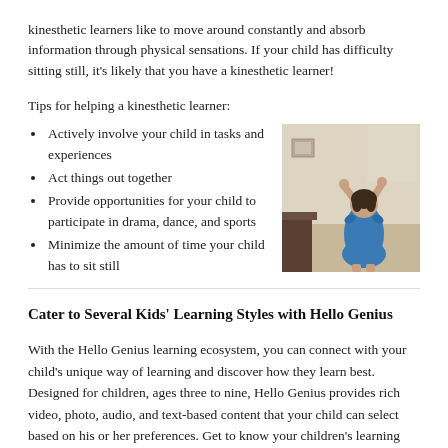kinesthetic learners like to move around constantly and absorb information through physical sensations. If your child has difficulty sitting still, it's likely that you have a kinesthetic learner!
Tips for helping a kinesthetic learner:
Actively involve your child in tasks and experiences
Act things out together
Provide opportunities for your child to participate in drama, dance, and sports
Minimize the amount of time your child has to sit still
[Figure (photo): A child in a blue dress with arms raised above head, photographed from behind in a room with wooden furniture]
Cater to Several Kids' Learning Styles with Hello Genius
With the Hello Genius learning ecosystem, you can connect with your child's unique way of learning and discover how they learn best. Designed for children, ages three to nine, Hello Genius provides rich video, photo, audio, and text-based content that your child can select based on his or her preferences. Get to know your children's learning style better by signing up for the app today!